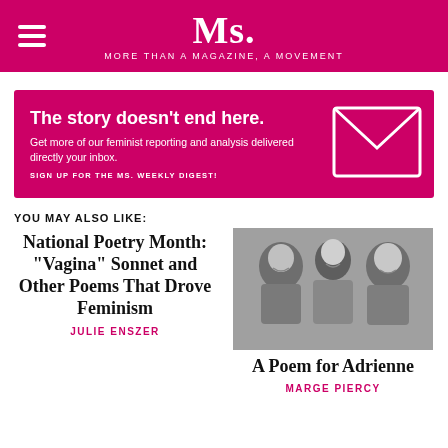Ms. MORE THAN A MAGAZINE, A MOVEMENT
[Figure (infographic): Ms. Magazine newsletter signup banner: 'The story doesn't end here. Get more of our feminist reporting and analysis delivered directly your inbox. SIGN UP FOR THE MS. WEEKLY DIGEST!' with envelope icon on right]
YOU MAY ALSO LIKE:
National Poetry Month: "Vagina" Sonnet and Other Poems That Drove Feminism
JULIE ENSZER
[Figure (photo): Black and white photo of three people smiling]
A Poem for Adrienne
MARGE PIERCY